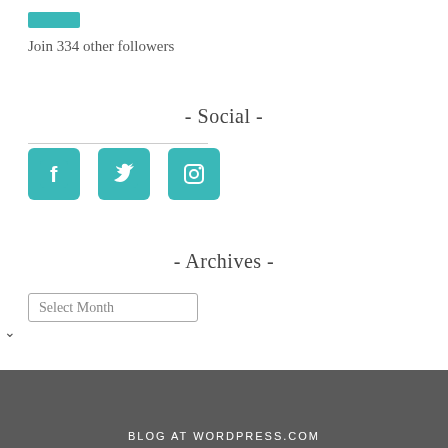[Figure (other): Teal/turquoise rectangular button (follow button)]
Join 334 other followers
- Social -
[Figure (other): Three social media icons (Facebook, Twitter, Instagram) in teal color]
- Archives -
Select Month (dropdown)
BLOG AT WORDPRESS.COM